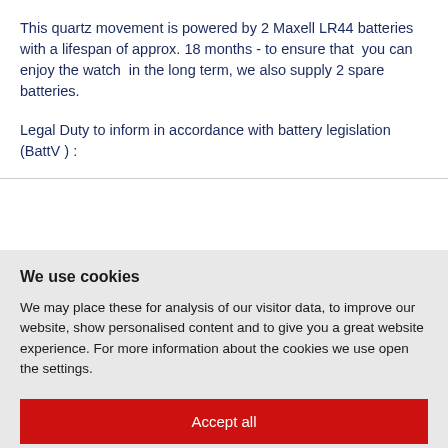This quartz movement is powered by 2 Maxell LR44 batteries with a lifespan of approx. 18 months - to ensure that  you can enjoy the watch  in the long term, we also supply 2 spare batteries.
Legal Duty to inform in accordance with battery legislation (BattV ) :
We use cookies
We may place these for analysis of our visitor data, to improve our website, show personalised content and to give you a great website experience. For more information about the cookies we use open the settings.
Accept all
Deny
No, adjust